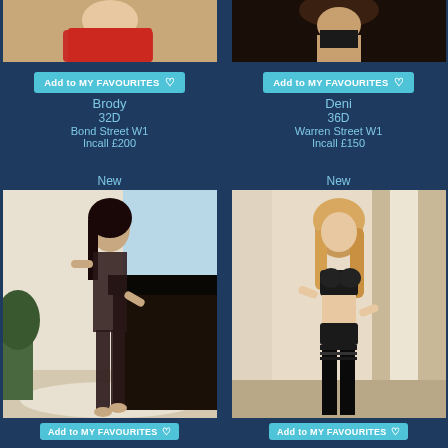[Figure (photo): Partial photo of woman in red dress, cropped showing lower body]
Add to MY FAVOURITES ♡
Brody
32D
Bond Street W1
Incall £200
[Figure (photo): Partial photo of woman in dark outfit, cropped showing lower body]
Add to MY FAVOURITES ♡
Deni
36D
Warren Street W1
Incall £150
New
[Figure (photo): Woman with dark hair in fishnet bodysuit standing by grand piano]
Add to MY FAVOURITES ♡
New
[Figure (photo): Blonde woman in black lingerie and thigh-high stockings]
Add to MY FAVOURITES ♡